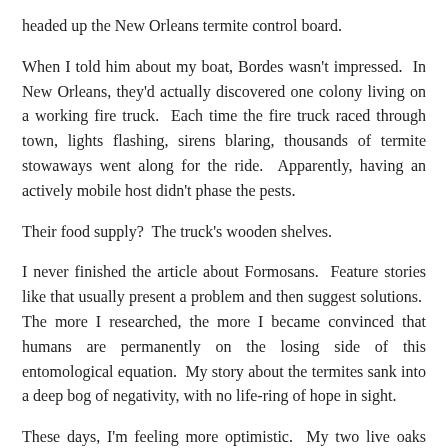headed up the New Orleans termite control board.
When I told him about my boat, Bordes wasn't impressed.  In New Orleans, they'd actually discovered one colony living on a working fire truck.  Each time the fire truck raced through town, lights flashing, sirens blaring, thousands of termite stowaways went along for the ride.  Apparently, having an actively mobile host didn't phase the pests.
Their food supply?  The truck's wooden shelves.
I never finished the article about Formosans.  Feature stories like that usually present a problem and then suggest solutions.  The more I researched, the more I became convinced that humans are permanently on the losing side of this entomological equation.  My story about the termites sank into a deep bog of negativity, with no life-ring of hope in sight.
These days, I'm feeling more optimistic.  My two live oaks seem to be thriving, a year after their termite treatment.  Dave's crew drilled holes